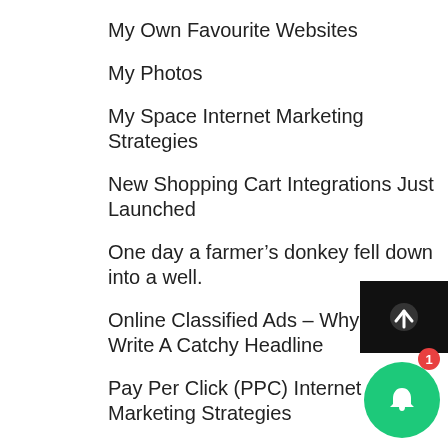My Own Favourite Websites
My Photos
My Space Internet Marketing Strategies
New Shopping Cart Integrations Just Launched
One day a farmer’s donkey fell down into a well.
Online Classified Ads – Why You Must Write A Catchy Headline
Pay Per Click (PPC) Internet Marketing Strategies
Personal Development Guru’s
Photos